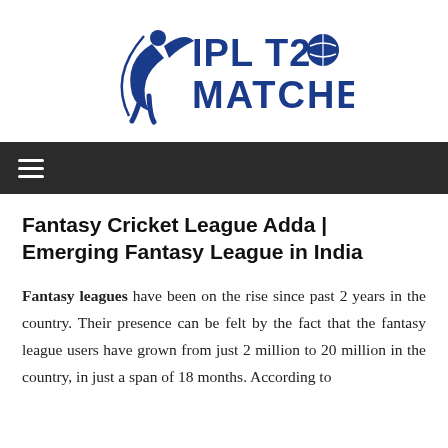[Figure (logo): IPL T20 Matches logo with cricket batsman silhouette and cricket ball replacing the 'O' in T20]
≡
Fantasy Cricket League Adda | Emerging Fantasy League in India
Fantasy leagues have been on the rise since past 2 years in the country. Their presence can be felt by the fact that the fantasy league users have grown from just 2 million to 20 million in the country, in just a span of 18 months. According to